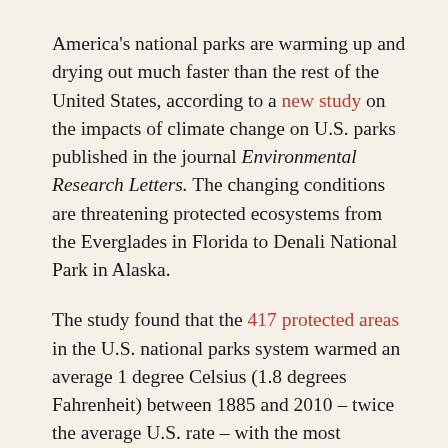America's national parks are warming up and drying out much faster than the rest of the United States, according to a new study on the impacts of climate change on U.S. parks published in the journal Environmental Research Letters. The changing conditions are threatening protected ecosystems from the Everglades in Florida to Denali National Park in Alaska.
The study found that the 417 protected areas in the U.S. national parks system warmed an average 1 degree Celsius (1.8 degrees Fahrenheit) between 1885 and 2010 – twice the average U.S. rate – with the most significant temperature increases happening in Alaska. Annual precipitation in parks, which cover a combined 85 million acres,